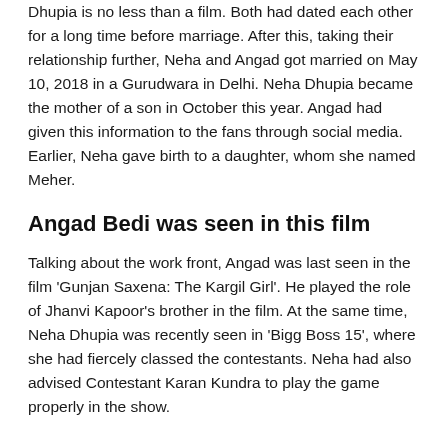Dhupia is no less than a film. Both had dated each other for a long time before marriage. After this, taking their relationship further, Neha and Angad got married on May 10, 2018 in a Gurudwara in Delhi. Neha Dhupia became the mother of a son in October this year. Angad had given this information to the fans through social media. Earlier, Neha gave birth to a daughter, whom she named Meher.
Angad Bedi was seen in this film
Talking about the work front, Angad was last seen in the film 'Gunjan Saxena: The Kargil Girl'. He played the role of Jhanvi Kapoor's brother in the film. At the same time, Neha Dhupia was recently seen in 'Bigg Boss 15', where she had fiercely classed the contestants. Neha had also advised Contestant Karan Kundra to play the game properly in the show.